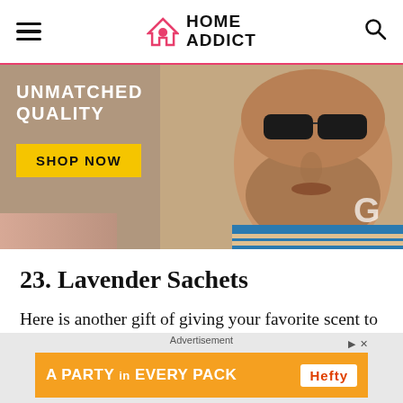HOME ADDICT
[Figure (photo): Advertisement banner showing a man's face close-up with text 'UNMATCHED QUALITY' and a yellow 'SHOP NOW' button on a tan background]
23. Lavender Sachets
Here is another gift of giving your favorite scent to your guests. Lavender is supposed to calm people down and help them sleep. So
Advertisement
[Figure (other): Bottom advertisement banner with orange background reading 'A PARTY in EVERY PACK' with Hefty logo]